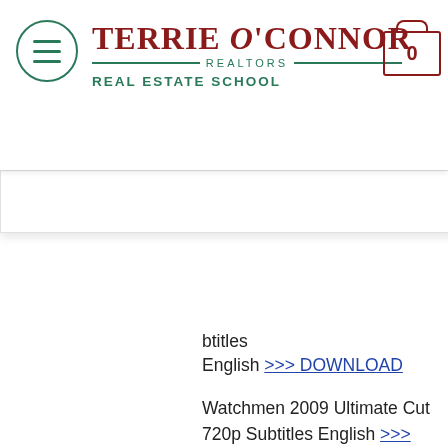[Figure (logo): Terrie O'Connor Realtors Real Estate School logo with hamburger menu icon and shopping cart icon showing 0]
Log In
… subtitles English >>> DOWNLOAD
Watchmen 2009 Ultimate Cut 720p Subtitles English >>> DOWNLOAD
Watchmen (2009) action movie with English subtitles. Cut with new scenes missing from the Watchmen (2009) DVD version. Use the English is it's a new language option to get